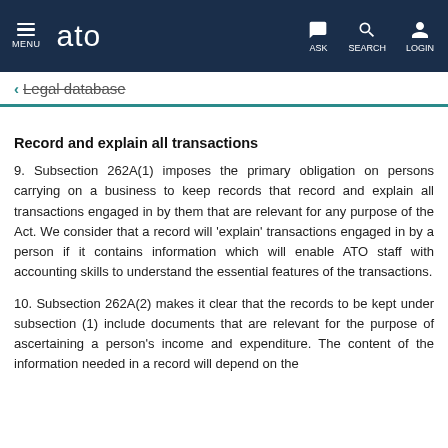ATO — MENU | ASK | SEARCH | LOGIN
← Legal database
Record and explain all transactions
9. Subsection 262A(1) imposes the primary obligation on persons carrying on a business to keep records that record and explain all transactions engaged in by them that are relevant for any purpose of the Act. We consider that a record will 'explain' transactions engaged in by a person if it contains information which will enable ATO staff with accounting skills to understand the essential features of the transactions.
10. Subsection 262A(2) makes it clear that the records to be kept under subsection (1) include documents that are relevant for the purpose of ascertaining a person's income and expenditure. The content of the information needed in a record will depend on the